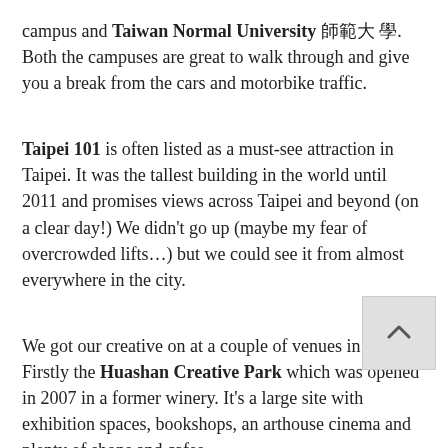campus and Taiwan Normal University 師範大學. Both the campuses are great to walk through and give you a break from the cars and motorbike traffic.
Taipei 101 is often listed as a must-see attraction in Taipei. It was the tallest building in the world until 2011 and promises views across Taipei and beyond (on a clear day!) We didn't go up (maybe my fear of overcrowded lifts…) but we could see it from almost everywhere in the city.
We got our creative on at a couple of venues in Taipei. Firstly the Huashan Creative Park which was opened in 2007 in a former winery. It's a large site with exhibition spaces, bookshops, an arthouse cinema and plenty of shops and cafes.
Songshan Cultural Park is in a former